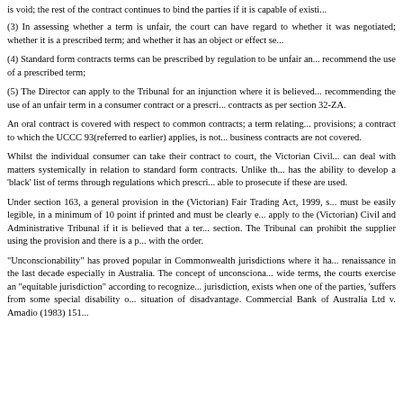is void; the rest of the contract continues to bind the parties if it is capable of existing without the void term.
(3) In assessing whether a term is unfair, the court can have regard to whether the term was negotiated; whether it is a prescribed term; and whether it has an object or effect set out in the section.
(4) Standard form contracts terms can be prescribed by regulation to be unfair and no person may recommend the use of a prescribed term;
(5) The Director can apply to the Tribunal for an injunction where it is believed a person is recommending the use of an unfair term in a consumer contract or a prescribed term in all contracts as per section 32-ZA.
An oral contract is covered with respect to common contracts; a term relating to the main subject provisions; a contract to which the UCCC 93(referred to earlier) applies, is not covered. Small business contracts are not covered.
Whilst the individual consumer can take their contract to court, the Victorian Civil and Administrative can deal with matters systemically in relation to standard form contracts. Unlike the courts, the Director has the ability to develop a 'black' list of terms through regulations which prescribe terms and is able to prosecute if these are used.
Under section 163, a general provision in the (Victorian) Fair Trading Act, 1999, standard form contracts must be easily legible, in a minimum of 10 point if printed and must be clearly expressed. Persons can apply to the (Victorian) Civil and Administrative Tribunal if it is believed that a term breaches this section. The Tribunal can prohibit the supplier using the provision and there is a penalty for not complying with the order.
"Unconscionability" has proved popular in Commonwealth jurisdictions where it has experienced a renaissance in the last decade especially in Australia. The concept of unconscionability, based on old wide terms, the courts exercise an "equitable jurisdiction" according to recognized principles. The jurisdiction, exists when one of the parties, 'suffers from some special disability or is in some serious situation of disadvantage. Commercial Bank of Australia Ltd v. Amadio (1983) 151 CLR 447.